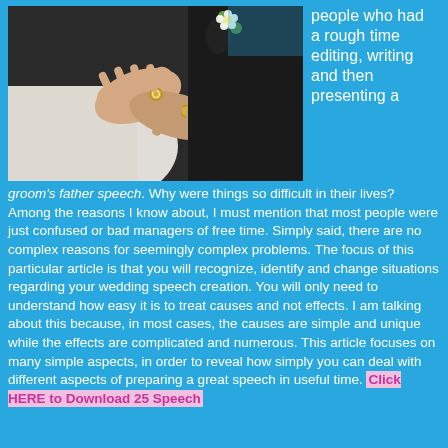[Figure (photo): Wedding photo showing hands of bride and groom exchanging rings, close-up shot]
people who had a rough time editing, writing and then presenting a groom's father speech. Why were things so difficult in their lives? Among the reasons I know about, I must mention that most people were just confused or bad managers of free time. Simply said, there are no complex reasons for seemingly complex problems. The focus of this particular article is that you will recognize, identify and change situations regarding your wedding speech creation. You will only need to understand how easy it is to treat causes and not effects. I am talking about this because, in most cases, the causes are simple and unique while the effects are complicated and numerous. This article focuses on many simple aspects, in order to reveal how simply you can deal with different aspects of preparing a great speech in useful time. Click HERE to Download 25 Speech